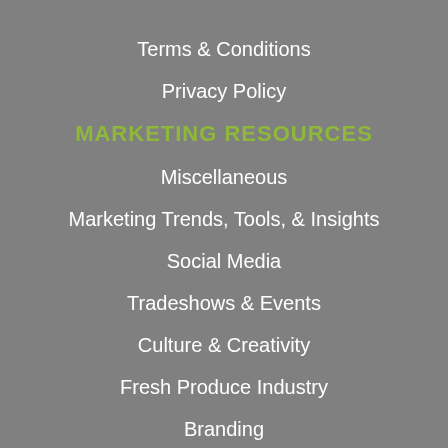Terms & Conditions
Privacy Policy
MARKETING RESOURCES
Miscellaneous
Marketing Trends, Tools, & Insights
Social Media
Tradeshows & Events
Culture & Creativity
Fresh Produce Industry
Branding
Websites & Blogs
Inbound Marketing